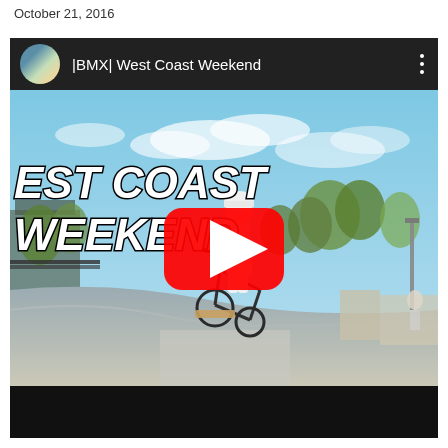October 21, 2016
[Figure (screenshot): YouTube video embed showing a BMX rider performing a trick at a skatepark. The video title bar reads '|BMX| West Coast Weekend' with a channel avatar and three-dot menu. The thumbnail shows a BMX rider in the air wearing a white helmet, with 'WEST COAST WEEKEND' text overlay in white italic font on the left side. A large red YouTube play button is centered on the thumbnail. The bottom of the embed is a black bar.]